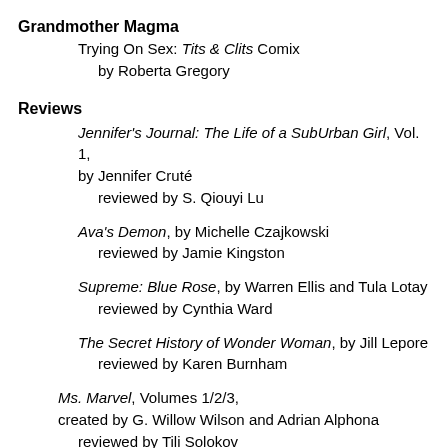Grandmother Magma
Trying On Sex: Tits & Clits Comix
  by Roberta Gregory
Reviews
Jennifer's Journal: The Life of a SubUrban Girl, Vol. 1, by Jennifer Cruté
  reviewed by S. Qiouyi Lu
Ava's Demon, by Michelle Czajkowski
  reviewed by Jamie Kingston
Supreme: Blue Rose, by Warren Ellis and Tula Lotay
  reviewed by Cynthia Ward
The Secret History of Wonder Woman, by Jill Lepore
  reviewed by Karen Burnham
Ms. Marvel, Volumes 1/2/3,
created by G. Willow Wilson and Adrian Alphona
  reviewed by Tili Solokov